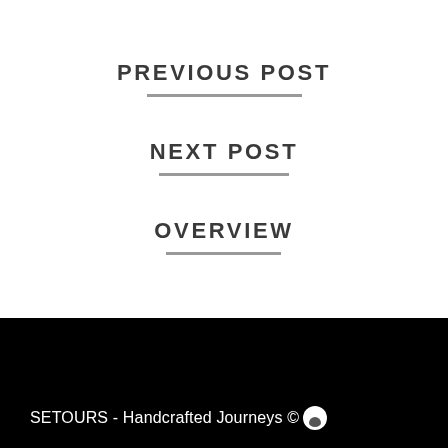PREVIOUS POST
NEXT POST
OVERVIEW
SETOURS - Handcrafted Journeys ©